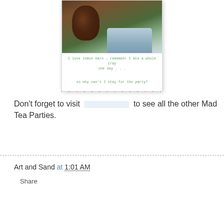[Figure (photo): A greeting card with a photo of a brown poodle dog on a lounge chair next to a person in a blue dress, with green handwritten text below reading: 'I love lemon bars – remember I ate a whole tray one day . . . so why can't I stay for the party?']
. . . . . . . . . . . . . .
Don't forget to visit [link] to see all the other Mad Tea Parties.
Art and Sand at 1:01 AM
Share